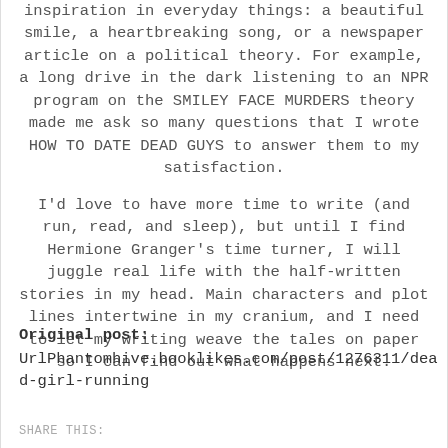inspiration in everyday things: a beautiful smile, a heartbreaking song, or a newspaper article on a political theory. For example, a long drive in the dark listening to an NPR program on the SMILEY FACE MURDERS theory made me ask so many questions that I wrote HOW TO DATE DEAD GUYS to answer them to my satisfaction.
I'd love to have more time to write (and run, read, and sleep), but until I find Hermione Granger's time turner, I will juggle real life with the half-written stories in my head. Main characters and plot lines intertwine in my cranium, and I need to let my writing weave the tales on paper so I can find out what happens next.
Original post: UrlPhantomhive.booklikes.com/post/1276311/dead-girl-running
SHARE THIS: